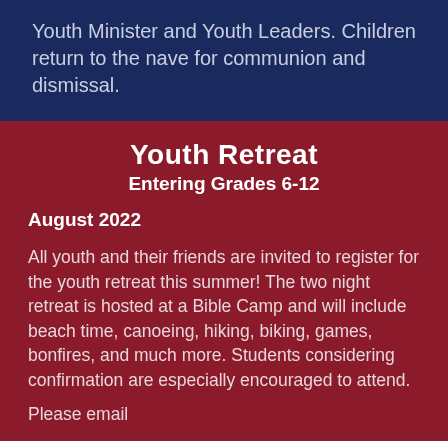Youth Minister and Youth Leaders. Children return to the nave for communion and dismissal.
Youth Retreat
Entering Grades 6-12
August 2022
All youth and their friends are invited to register for the youth retreat this summer! The two night retreat is hosted at a Bible Camp and will include beach time, canoeing, hiking, biking, games, bonfires, and much more. Students considering confirmation are especially encouraged to attend.
Please email